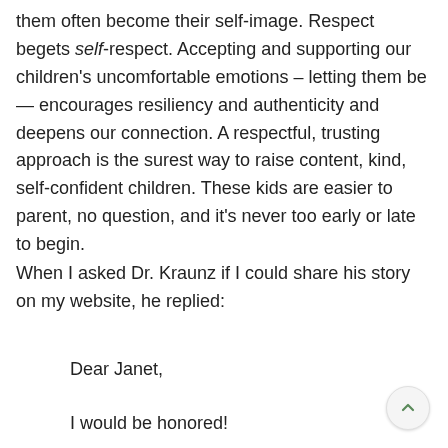them often become their self-image. Respect begets self-respect. Accepting and supporting our children's uncomfortable emotions – letting them be — encourages resiliency and authenticity and deepens our connection. A respectful, trusting approach is the surest way to raise content, kind, self-confident children. These kids are easier to parent, no question, and it's never too early or late to begin.
When I asked Dr. Kraunz if I could share his story on my website, he replied:
Dear Janet,
I would be honored!